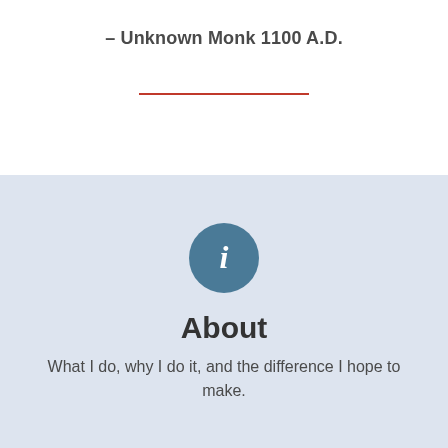– Unknown Monk 1100 A.D.
[Figure (illustration): A red horizontal divider line]
[Figure (illustration): A teal/blue circle with a white letter 'i' (information icon)]
About
What I do, why I do it, and the difference I hope to make.